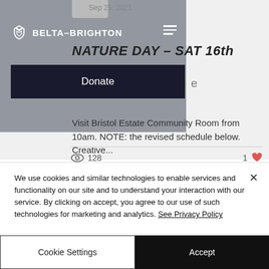BELTA-BRIGHTON
Sep 25, 2021
NATURE DAY – SAT 16th
Donate
Visit Bristol Estate Community Room from 10am. NOTE: the revised schedule below. Creative...
128  1
We use cookies and similar technologies to enable services and functionality on our site and to understand your interaction with our service. By clicking on accept, you agree to our use of such technologies for marketing and analytics. See Privacy Policy
Cookie Settings
Accept